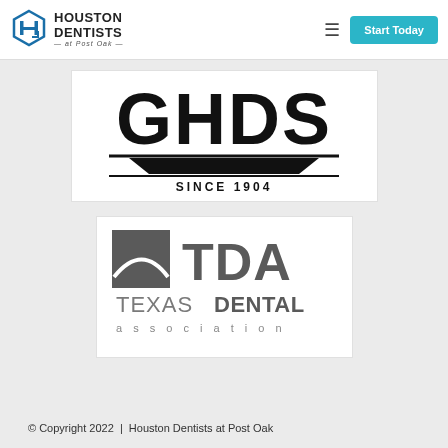Houston Dentists at Post Oak — navigation header with Start Today button
[Figure (logo): GHDS logo with text SINCE 1904 and stylized geometric design]
[Figure (logo): Texas Dental Association (TDA) logo with square graphic and text TEXAS DENTAL association]
© Copyright 2022  |  Houston Dentists at Post Oak